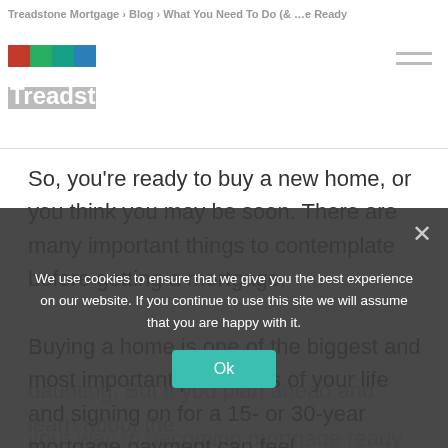Treadstone Mortgage › Blog › What You Need To Do (& …e Ready
[Figure (logo): Treadstone Mortgage logo with colored tile mosaic and company name]
So, you're ready to buy a new home, or you think you may be soon. There are many important things to contemplate before getting a mortgage.
Buying a home is one of the biggest and most important purchases of your life and signing on for a 15- or 30-year mortgage payment can feel…
daunting. But if you plan ahead and learn about the
your way to becoming mortgage ready in no time.
We use cookies to ensure that we give you the best experience on our website. If you continue to use this site we will assume that you are happy with it.
Ok